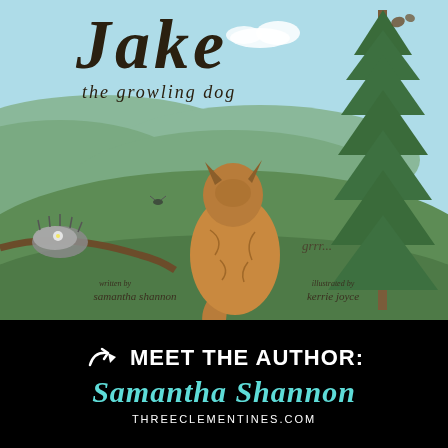[Figure (illustration): Book cover for 'Jake the growling dog' by Samantha Shannon, illustrated by Kerrie Joyce. Shows a brown dog sitting with its back turned, facing a tall pine tree on a green grassy hillside with a light blue sky. A small animal (hedgehog) rests on a branch to the lower left. A butterfly is visible top right. 'grrr...' text appears near the dog. Author and illustrator credits appear at the bottom of the illustration.]
MEET THE AUTHOR: Samantha Shannon
THREECLEMENTINES.COM